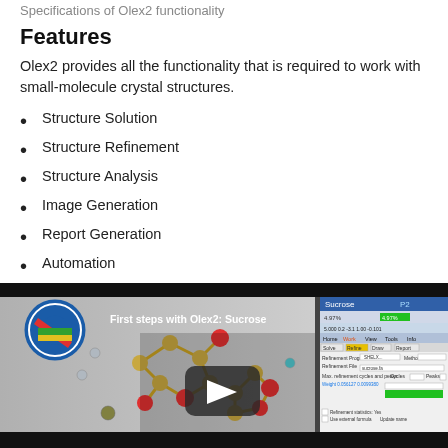Specifications of Olex2 functionality
Features
Olex2 provides all the functionality that is required to work with small-molecule crystal structures.
Structure Solution
Structure Refinement
Structure Analysis
Image Generation
Report Generation
Automation
Take a look at the very basic features:
[Figure (screenshot): Video thumbnail: 'First steps with Olex2: Sucrose' showing a 3D molecular structure of sucrose on left and the Olex2 software interface on right, with a YouTube play button overlay. The Olex2 logo (colorful striped circular icon) is visible in the top left of the thumbnail.]